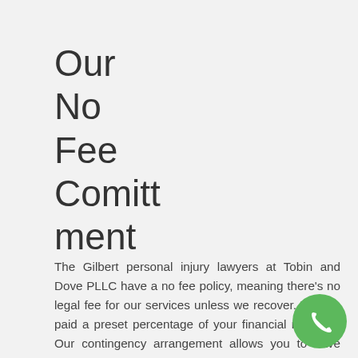Our No Fee Commitment
The Gilbert personal injury lawyers at Tobin and Dove PLLC have a no fee policy, meaning there's no legal fee for our services unless we recover. We are paid a preset percentage of your financial recovery. Our contingency arrangement allows you to have skilled Arizona accident injury attorneys with no up-front costs. We believe that contingency fees are mutually beneficial because it motivates attorneys to seek maximum recovery for you and your family. With no upfront costs, you can have experienced Gilbert injury lawyers on your side.